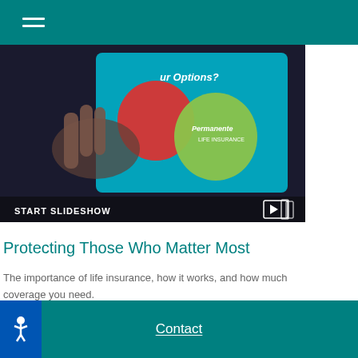Navigation menu (hamburger icon)
[Figure (screenshot): Screenshot of a tablet displaying Kaiser Permanente Life Insurance slideshow with apples graphic and text 'Our Options?'. Shows START SLIDESHOW label and play button icon at bottom.]
Protecting Those Who Matter Most
The importance of life insurance, how it works, and how much coverage you need.
Contact